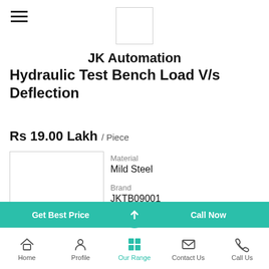JK Automation
JK Automation Hydraulic Test Bench Load V/s Deflection
Rs 19.00 Lakh / Piece
| Field | Value |
| --- | --- |
| Material | Mild Steel |
| Brand | JKTB09001 |
| Model Name/Number | ...more |
Home  Profile  Our Range  Contact Us  Call Us